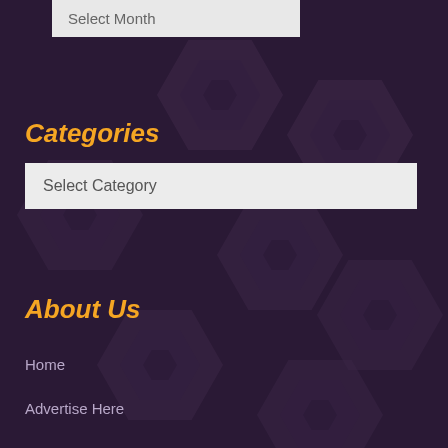Select Month
Categories
Select Category
About Us
Home
Advertise Here